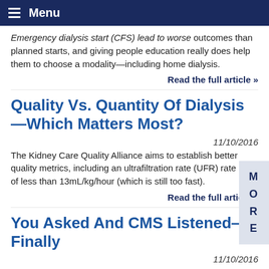Menu
Emergency dialysis start (CFS) lead to worse outcomes than planned starts, and giving people education really does help them to choose a modality—including home dialysis.
Read the full article »
Quality Vs. Quantity Of Dialysis—Which Matters Most?
11/10/2016
The Kidney Care Quality Alliance aims to establish better quality metrics, including an ultrafiltration rate (UFR) rate of less than 13mL/kg/hour (which is still too fast).
Read the full article »
You Asked And CMS Listened—Finally
11/10/2016
CMS finalized a rule that will update Medicare...